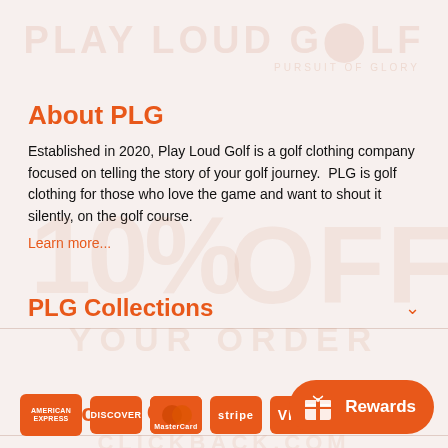[Figure (logo): Play Loud Golf watermark logo at top with 'PURSUIT OF GLORY' tagline]
[Figure (infographic): 10% OFF watermark text overlaid on page background]
About PLG
Established in 2020, Play Loud Golf is a golf clothing company focused on telling the story of your golf journey.  PLG is golf clothing for those who love the game and want to shout it silently, on the golf course.
Learn more...
PLG Collections
Customer Care
[Figure (logo): Payment method icons: American Express, Discover, Mastercard, Stripe, Visa]
[Figure (infographic): Rewards button with gift icon]